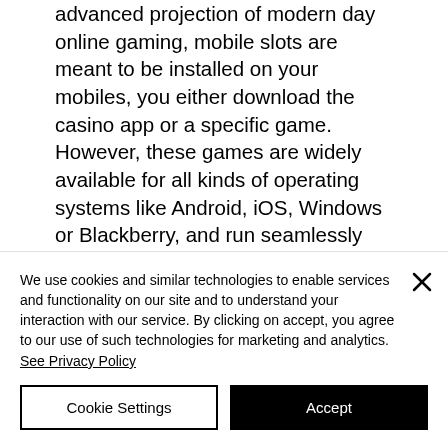advanced projection of modern day online gaming, mobile slots are meant to be installed on your mobiles, you either download the casino app or a specific game. However, these games are widely available for all kinds of operating systems like Android, iOS, Windows or Blackberry, and run seamlessly on 3G and 4G networks, casino fantasia roulette. Are you interested in how we review NZD casino sites? Well, we have a carefully developed system, sports gambling crypto. Other favorites of ours
We use cookies and similar technologies to enable services and functionality on our site and to understand your interaction with our service. By clicking on accept, you agree to our use of such technologies for marketing and analytics. See Privacy Policy